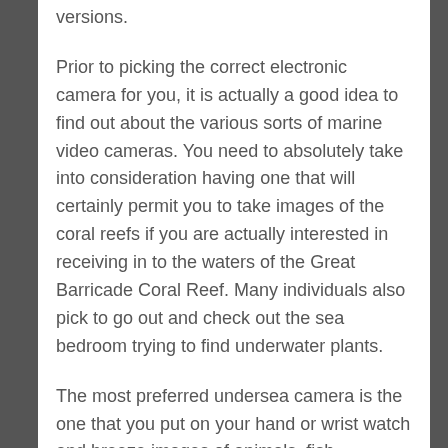versions.
Prior to picking the correct electronic camera for you, it is actually a good idea to find out about the various sorts of marine video cameras. You need to absolutely take into consideration having one that will certainly permit you to take images of the coral reefs if you are actually interested in receiving in to the waters of the Great Barricade Coral Reef. Many individuals also pick to go out and check out the sea bedroom trying to find underwater plants.
The most preferred undersea camera is the one that you put on your hand or wrist watch and breeze images of animals, fish, vegetations, and also a lot more. These are also excellent for folks who are brand new to the seas, as they permit you to take images underwater without having to go out in a pool or even lake. These underwater